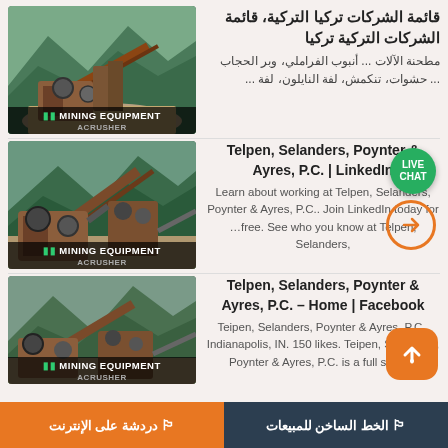[Figure (photo): Mining equipment photo with 'MINING EQUIPMENT ACRUSHER' overlay label]
قائمة الشركات تركيا التركية، قائمة الشركات التركية تركيا
مطحنة الآلات ... أنبوب الفراملي، وبر الحجاب ... حشوات، تنكمش، لفة النايلون، لفة ...
[Figure (photo): Mining equipment photo with 'MINING EQUIPMENT ACRUSHER' overlay label]
Telpen, Selanders, Poynter & Ayres, P.C. | LinkedIn
Learn about working at Telpen, Selanders, Poynter & Ayres, P.C.. Join LinkedIn today for free. See who you know at Telpen, Selanders,
[Figure (photo): Mining equipment photo with 'MINING EQUIPMENT ACRUSHER' overlay label]
Telpen, Selanders, Poynter & Ayres, P.C. – Home | Facebook
Teipen, Selanders, Poynter & Ayres, P.C., Indianapolis, IN. 150 likes. Teipen, Selanders, Poynter & Ayres, P.C. is a full service
دردشة على الإنترنت
الخط الساخن للمبيعات